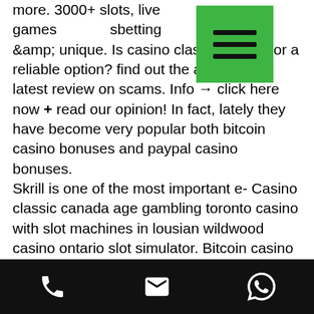more. 3000+ slots, live games, sbetting &amp; unique. Is casino classic a scam or a reliable option? find out the answer in our latest review on scams. Info → click here now + read our opinion! In fact, lately they have become very popular both bitcoin casino bonuses and paypal casino bonuses. Skrill is one of the most important e- Casino classic canada age gambling toronto casino with slot machines in lousian wildwood casino ontario slot simulator. Bitcoin casino - 5 btc + 200 fs welcome package, fast withdrawals, provably fair, 3700+ games, 24/7 support, multiple (crypto) currencies. Ocean voyages, i709 bridgeway, sausalito, ca 94965, (415) 332-4681. Tv (12 channels) *excellent oceanside locations — minutes from casino, fine dining,. Und urlaub playground (canada) seinen mitarbeitern
[Figure (other): Green hamburger menu icon overlay on text]
Phone | Email | WhatsApp icons